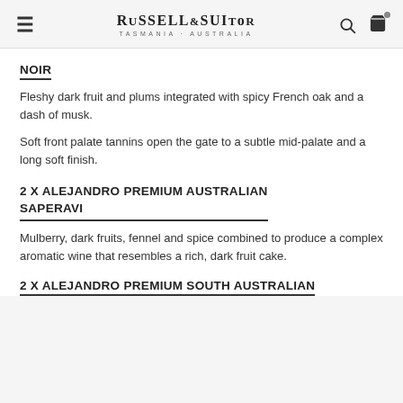RUSSELL&SUITOR TASMANIA · AUSTRALIA
NOIR
Fleshy dark fruit and plums integrated with spicy French oak and a dash of musk.
Soft front palate tannins open the gate to a subtle mid-palate and a long soft finish.
2 X ALEJANDRO PREMIUM AUSTRALIAN SAPERAVI
Mulberry, dark fruits, fennel and spice combined to produce a complex aromatic wine that resembles a rich, dark fruit cake.
2 X ALEJANDRO PREMIUM SOUTH AUSTRALIAN